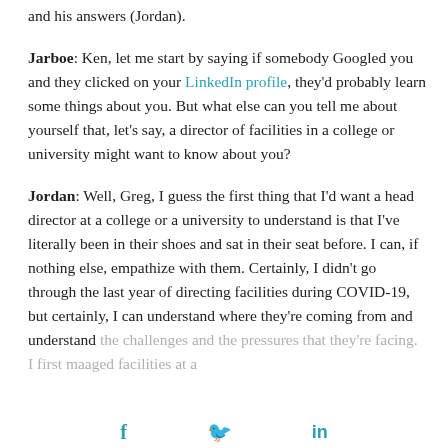and his answers (Jordan).
Jarboe: Ken, let me start by saying if somebody Googled you and they clicked on your LinkedIn profile, they'd probably learn some things about you. But what else can you tell me about yourself that, let's say, a director of facilities in a college or university might want to know about you?
Jordan: Well, Greg, I guess the first thing that I'd want a head director at a college or a university to understand is that I've literally been in their shoes and sat in their seat before. I can, if nothing else, empathize with them. Certainly, I didn't go through the last year of directing facilities during COVID-19, but certainly, I can understand where they're coming from and understand the challenges and the pressures that they're facing. I first managed facilities at a relatively small university and then moved to...